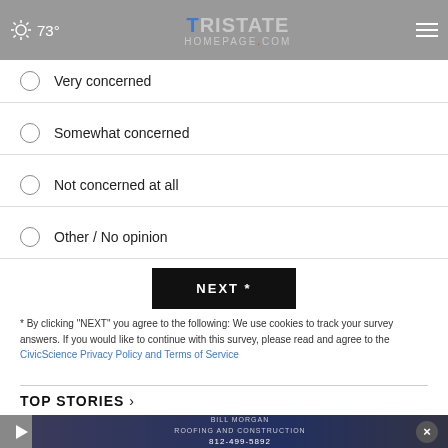73° TRISTATE HOMEPAGE.com
Very concerned
Somewhat concerned
Not concerned at all
Other / No opinion
NEXT *
* By clicking "NEXT" you agree to the following: We use cookies to track your survey answers. If you would like to continue with this survey, please read and agree to the CivicScience Privacy Policy and Terms of Service
TOP STORIES ›
[Figure (screenshot): Video thumbnail showing a Bill Morgan Roofing and Construction advertisement with phone number 812-499-5892]